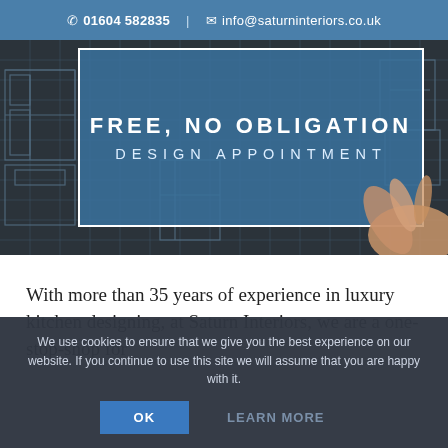01604 582835 | info@saturninteriors.co.uk
[Figure (photo): Hero banner showing architectural blueprint drawings in the background with a hand pointing at plans. A blue overlay box contains bold white text reading FREE, NO OBLIGATION DESIGN APPOINTMENT.]
FREE, NO OBLIGATION DESIGN APPOINTMENT
With more than 35 years of experience in luxury kitchen designing, at Saturn Interiors, we are a one-stop-shop for
We use cookies to ensure that we give you the best experience on our website. If you continue to use this site we will assume that you are happy with it.